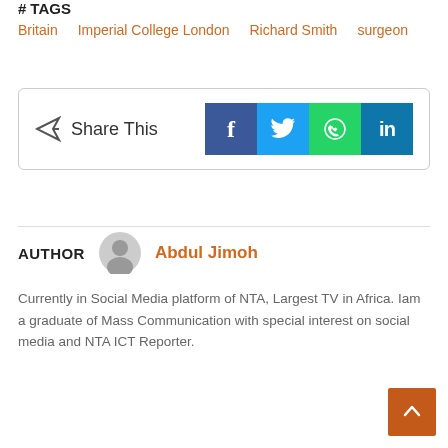# TAGS
Britain   Imperial College London   Richard Smith   surgeon
[Figure (infographic): Share This box with social media buttons: Facebook, Twitter, WhatsApp, LinkedIn]
AUTHOR   Abdul Jimoh
Currently in Social Media platform of NTA, Largest TV in Africa. Iam a graduate of Mass Communication with special interest on social media and NTA ICT Reporter.